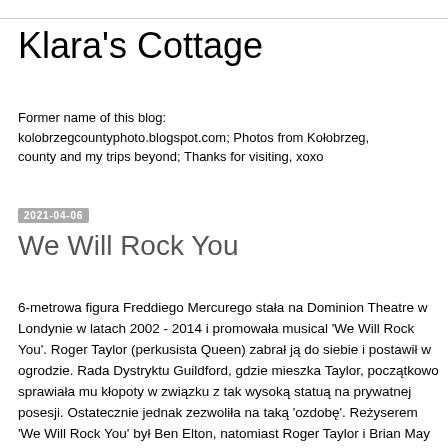Klara's Cottage
Former name of this blog: kolobrzegcountyphoto.blogspot.com; Photos from Kołobrzeg, county and my trips beyond; Thanks for visiting, xoxo
2021-04-06
We Will Rock You
6-metrowa figura Freddiego Mercurego stała na Dominion Theatre w Londynie w latach 2002 - 2014 i promowała musical 'We Will Rock You'. Roger Taylor (perkusista Queen) zabrał ją do siebie i postawił w ogrodzie. Rada Dystryktu Guildford, gdzie mieszka Taylor, początkowo sprawiała mu kłopoty w związku z tak wysoką statuą na prywatnej posesji. Ostatecznie jednak zezwoliła na taką 'ozdobę'. Reżyserem 'We Will Rock You' był Ben Elton, natomiast Roger Taylor i Brian May (gitarzysta Queen) byli współtwórcami spektaklu, który przez dwanaście lat obejrzało 6,6 miliona widzów.